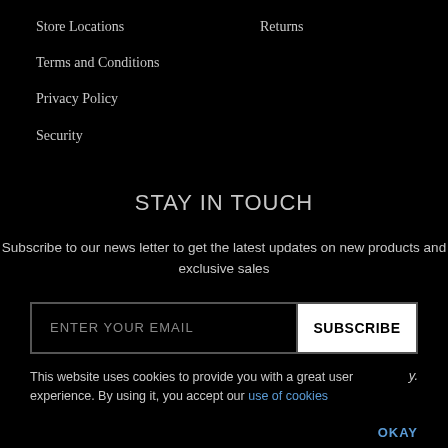Store Locations
Returns
Terms and Conditions
Privacy Policy
Security
STAY IN TOUCH
Subscribe to our news letter to get the latest updates on new products and exclusive sales
ENTER YOUR EMAIL
SUBSCRIBE
This website uses cookies to provide you with a great user experience. By using it, you accept our use of cookies
y.
OKAY